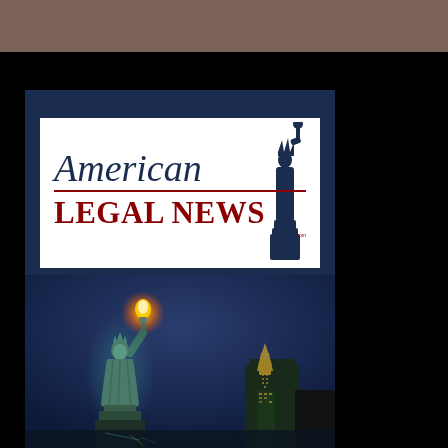[Figure (logo): American Legal News logo with Statue of Liberty illustration, text 'American LEGAL NEWS' on white background]
[Figure (photo): Night photograph of the Statue of Liberty holding torch aloft, illuminated against dark blue night sky with lit building in background]